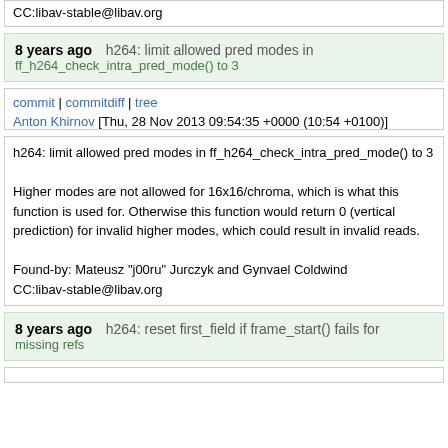CC:libav-stable@libav.org
8 years ago    h264: limit allowed pred modes in ff_h264_check_intra_pred_mode() to 3
commit | commitdiff | tree
Anton Khirnov [Thu, 28 Nov 2013 09:54:35 +0000 (10:54 +0100)]
h264: limit allowed pred modes in ff_h264_check_intra_pred_mode() to 3

Higher modes are not allowed for 16x16/chroma, which is what this function is used for. Otherwise this function would return 0 (vertical prediction) for invalid higher modes, which could result in invalid reads.

Found-by: Mateusz "j00ru" Jurczyk and Gynvael Coldwind
CC:libav-stable@libav.org
8 years ago    h264: reset first_field if frame_start() fails for missing refs